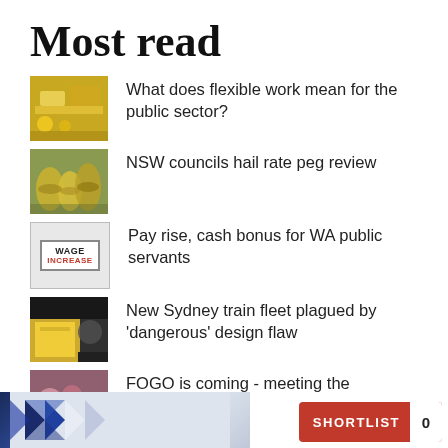Most read
What does flexible work mean for the public sector?
NSW councils hail rate peg review
Pay rise, cash bonus for WA public servants
New Sydney train fleet plagued by 'dangerous' design flaw
FOGO is coming - meeting the challenges